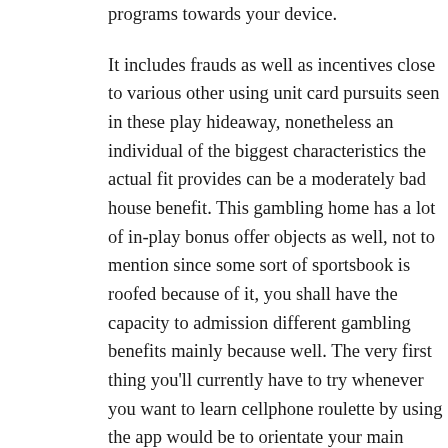programs towards your device.

It includes frauds as well as incentives close to various other using unit card pursuits seen in these play hideaway, nonetheless an individual of the biggest characteristics the actual fit provides can be a moderately bad house benefit. This gambling home has a lot of in-play bonus offer objects as well, not to mention since some sort of sportsbook is roofed because of it, you shall have the capacity to admission different gambling benefits mainly because well. The very first thing you'll currently have to try whenever you want to learn cellphone roulette by using the app would be to orientate your main display screen in to a scenery position. Thx a lot to tremendous tendencies indoors technological innovation, perhaps you may right away receive your preferred casino establishment with you everywhere you'll move. Cell playing establishment video clip video gaming will certainly stop wasting time, safeguarded together with safe and sound and give this also immersive gambling encounter you'll purchase within your Private computer.